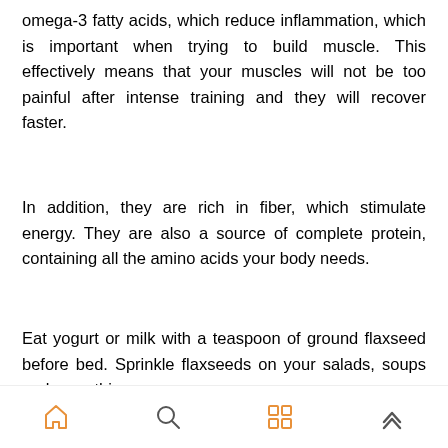omega-3 fatty acids, which reduce inflammation, which is important when trying to build muscle. This effectively means that your muscles will not be too painful after intense training and they will recover faster.
In addition, they are rich in fiber, which stimulate energy. They are also a source of complete protein, containing all the amino acids your body needs.
Eat yogurt or milk with a teaspoon of ground flaxseed before bed. Sprinkle flaxseeds on your salads, soups and smoothies.
[Figure (other): Mobile navigation bar with four icons: home, search, grid/apps (highlighted in orange), and chevron-up]